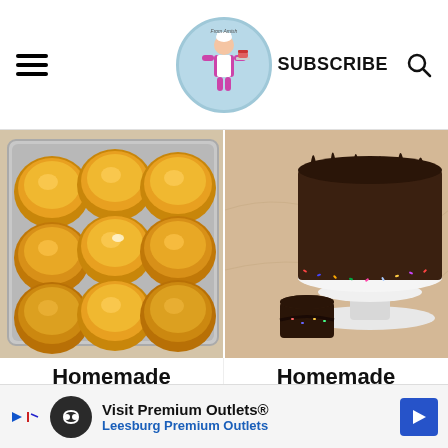SUBSCRIBE
[Figure (photo): Golden homemade soft dinner rolls in a metal baking pan, viewed from above on a white wooden surface]
[Figure (photo): Homemade chocolate birthday cake with chocolate drip frosting and sprinkles on a white cake stand, with a small chocolate cake in front]
Homemade Soft Dinner Rolls
Homemade Chocolate Birthday Cake
Visit Premium Outlets® Leesburg Premium Outlets